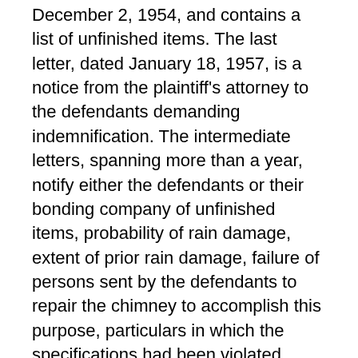The first letter is dated December 2, 1954, and contains a list of unfinished items. The last letter, dated January 18, 1957, is a notice from the plaintiff's attorney to the defendants demanding indemnification. The intermediate letters, spanning more than a year, notify either the defendants or their bonding company of unfinished items, probability of rain damage, extent of prior rain damage, failure of persons sent by the defendants to repair the chimney to accomplish this purpose, particulars in which the specifications had been violated, breach of a subsequent agreement by the defendants to employ a roofing expert to make an independent examination, and so forth. These letters